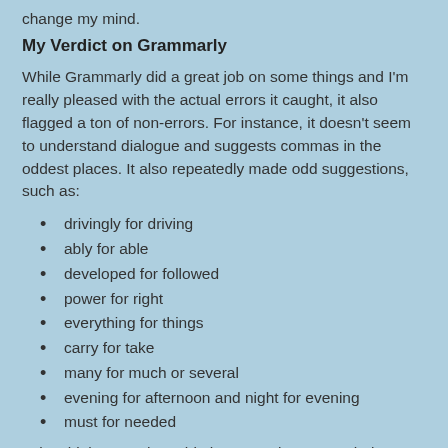change my mind.
My Verdict on Grammarly
While Grammarly did a great job on some things and I'm really pleased with the actual errors it caught, it also flagged a ton of non-errors. For instance, it doesn't seem to understand dialogue and suggests commas in the oddest places. It also repeatedly made odd suggestions, such as:
drivingly for driving
ably for able
developed for followed
power for right
everything for things
carry for take
many for much or several
evening for afternoon and night for evening
must for needed
I also think I must have hit the wrong language choice when I started out because I had UK English spellings popping up...